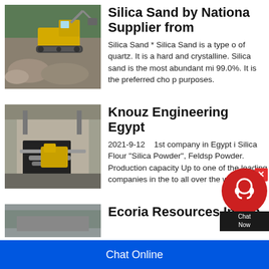[Figure (photo): Excavator working at a mining/quarry site with rocks and trees in background]
Silica Sand by National Supplier from
Silica Sand * Silica Sand is a type of quartz. It is a hard and crystalline. Silica sand is the most abundant mi... 99.0%. It is the preferred cho... purposes.
[Figure (photo): Industrial quarry/mining facility with pipes and machinery inside a rock face]
Knouz Engineering Egypt
2021-9-12    1st company in Egypt i... Silica Flour "Silica Powder", Feldsp... Powder. Production capacity Up to ... one of the leading companies in the... to all over the world.
Ecoria Resources Intern...
Chat Online